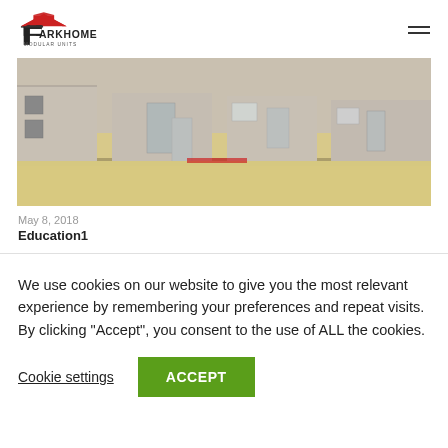PARKHOME MODULAR UNITS
[Figure (photo): Exterior photo of multiple modular unit buildings placed on sandy ground, viewed at ground level showing beige/grey portable structures with doors and windows]
May 8, 2018
Education1
We use cookies on our website to give you the most relevant experience by remembering your preferences and repeat visits. By clicking “Accept”, you consent to the use of ALL the cookies.
Cookie settings   ACCEPT